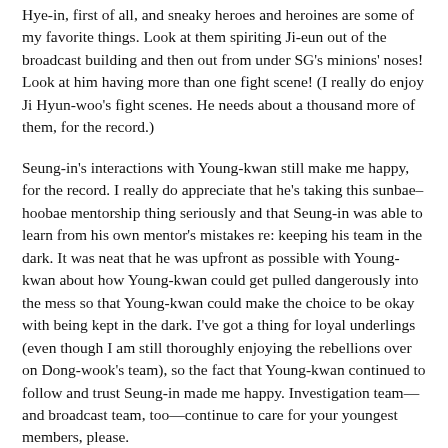Hye-in, first of all, and sneaky heroes and heroines are some of my favorite things. Look at them spiriting Ji-eun out of the broadcast building and then out from under SG's minions' noses! Look at him having more than one fight scene! (I really do enjoy Ji Hyun-woo's fight scenes. He needs about a thousand more of them, for the record.)
Seung-in's interactions with Young-kwan still make me happy, for the record. I really do appreciate that he's taking this sunbae–hoobae mentorship thing seriously and that Seung-in was able to learn from his own mentor's mistakes re: keeping his team in the dark. It was neat that he was upfront as possible with Young-kwan about how Young-kwan could get pulled dangerously into the mess so that Young-kwan could make the choice to be okay with being kept in the dark. I've got a thing for loyal underlings (even though I am still thoroughly enjoying the rebellions over on Dong-wook's team), so the fact that Young-kwan continued to follow and trust Seung-in made me happy. Investigation team—and broadcast team, too—continue to care for your youngest members, please.